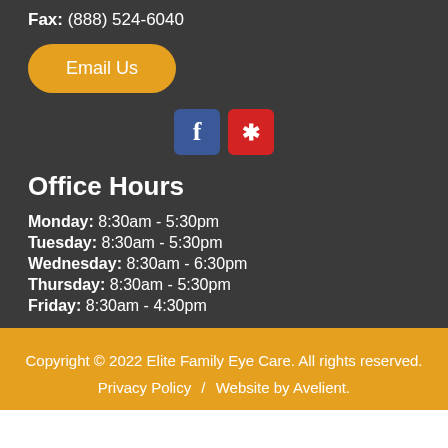Fax: (888) 524-6040
Email Us
[Figure (other): Social media icons: Facebook (blue) and Yelp (red)]
Office Hours
Monday: 8:30am - 5:30pm
Tuesday: 8:30am - 5:30pm
Wednesday: 8:30am - 6:30pm
Thursday: 8:30am - 5:30pm
Friday: 8:30am - 4:30pm
Copyright © 2022 Elite Family Eye Care. All rights reserved. Privacy Policy  /  Website by Avelient.